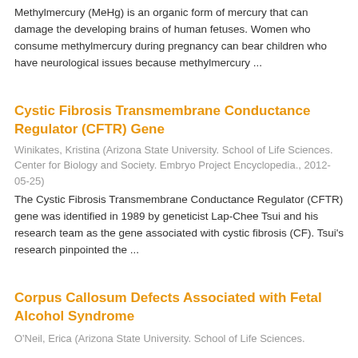Methylmercury (MeHg) is an organic form of mercury that can damage the developing brains of human fetuses. Women who consume methylmercury during pregnancy can bear children who have neurological issues because methylmercury ...
Cystic Fibrosis Transmembrane Conductance Regulator (CFTR) Gene
Winikates, Kristina (Arizona State University. School of Life Sciences. Center for Biology and Society. Embryo Project Encyclopedia., 2012-05-25)
The Cystic Fibrosis Transmembrane Conductance Regulator (CFTR) gene was identified in 1989 by geneticist Lap-Chee Tsui and his research team as the gene associated with cystic fibrosis (CF). Tsui's research pinpointed the ...
Corpus Callosum Defects Associated with Fetal Alcohol Syndrome
O'Neil, Erica (Arizona State University. School of Life Sciences.